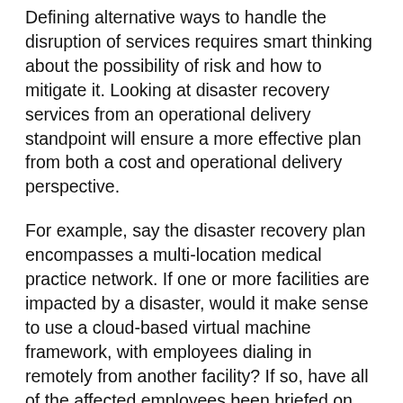Defining alternative ways to handle the disruption of services requires smart thinking about the possibility of risk and how to mitigate it. Looking at disaster recovery services from an operational delivery standpoint will ensure a more effective plan from both a cost and operational delivery perspective.
For example, say the disaster recovery plan encompasses a multi-location medical practice network. If one or more facilities are impacted by a disaster, would it make sense to use a cloud-based virtual machine framework, with employees dialing in remotely from another facility? If so, have all of the affected employees been briefed on how to dial-in to access data? Will they use